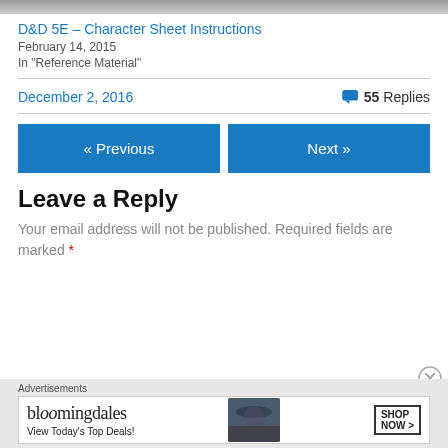[Figure (photo): Partial top image, cropped at top of page]
D&D 5E – Character Sheet Instructions
February 14, 2015
In "Reference Material"
December 2, 2016
55 Replies
« Previous
Next »
Leave a Reply
Your email address will not be published. Required fields are marked *
[Figure (illustration): Bloomingdales advertisement banner: bloomingdales logo, View Today's Top Deals!, woman with hat, SHOP NOW >]